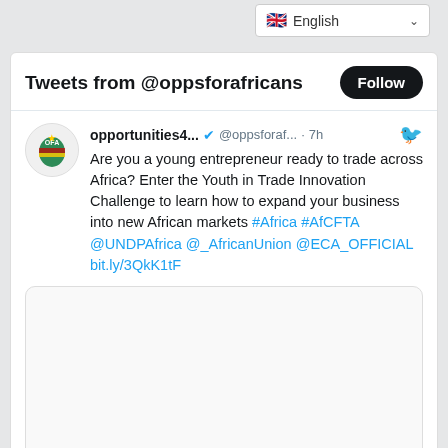English (language selector)
Tweets from @oppsforafricans
opportunities4... @oppsforaf... · 7h
Are you a young entrepreneur ready to trade across Africa? Enter the Youth in Trade Innovation Challenge to learn how to expand your business into new African markets #Africa #AfCFTA @UNDPAfrica @_AfricanUnion @ECA_OFFICIAL bit.ly/3QkK1tF
[Figure (screenshot): Embedded tweet card preview image area (blank/light grey)]
opportunitiesforafricans.com